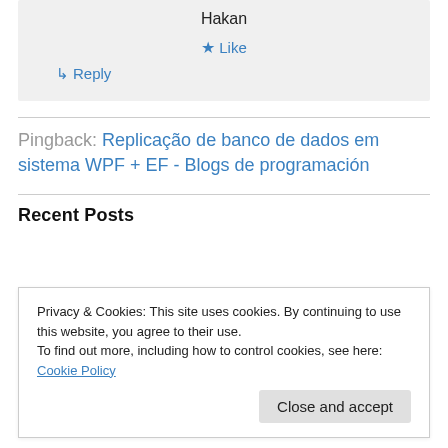Hakan
★ Like
↳ Reply
Pingback: Replicação de banco de dados em sistema WPF + EF - Blogs de programación
Recent Posts
Privacy & Cookies: This site uses cookies. By continuing to use this website, you agree to their use. To find out more, including how to control cookies, see here: Cookie Policy